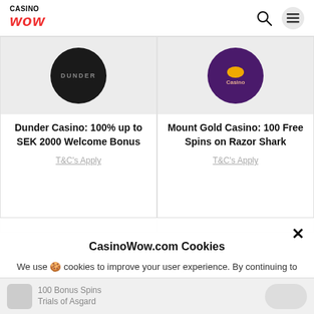CASINO WOW
[Figure (logo): Dunder Casino logo — black circle with DUNDER text]
Dunder Casino: 100% up to SEK 2000 Welcome Bonus
T&C's Apply
[Figure (logo): Mount Gold Casino logo — purple circle with gold coin and Casino text]
Mount Gold Casino: 100 Free Spins on Razor Shark
T&C's Apply
CasinoWow.com Cookies
We use 🍪 cookies to improve your user experience. By continuing to use this site, you are agreeing to our use of cookies as described in our Cookie Policy.
Accept
100 Bonus Spins Trials of Asgard